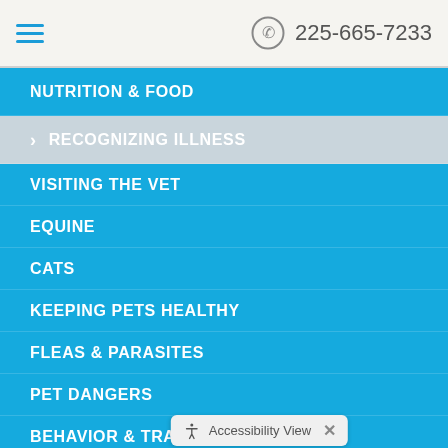225-665-7233
NUTRITION & FOOD
RECOGNIZING ILLNESS
VISITING THE VET
EQUINE
CATS
KEEPING PETS HEALTHY
FLEAS & PARASITES
PET DANGERS
BEHAVIOR & TRAINING
NEWSLETTER ARCHIVE